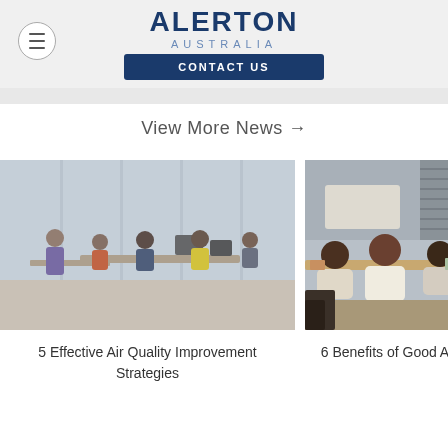ALERTON AUSTRALIA
CONTACT US
View More News →
[Figure (photo): Office scene with multiple people working at desks near large windows, blurred background]
5 Effective Air Quality Improvement Strategies
[Figure (photo): Office meeting scene with people viewed from behind, sitting around a table with whiteboards]
6 Benefits of Good A